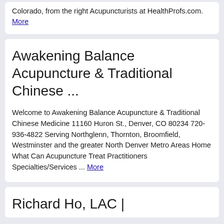Colorado, from the right Acupuncturists at HealthProfs.com. More
Awakening Balance Acupuncture & Traditional Chinese ...
Welcome to Awakening Balance Acupuncture & Traditional Chinese Medicine 11160 Huron St., Denver, CO 80234 720-936-4822 Serving Northglenn, Thornton, Broomfield, Westminster and the greater North Denver Metro Areas Home What Can Acupuncture Treat Practitioners Specialties/Services ... More
Richard Ho, LAC |